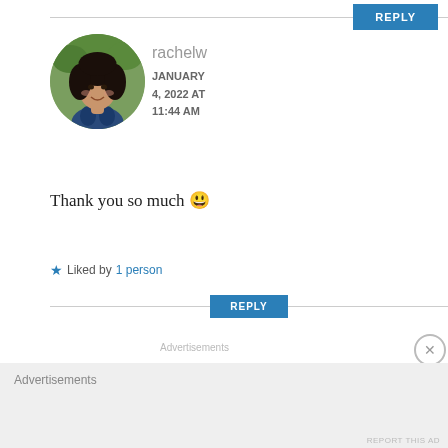[Figure (other): REPLY button with horizontal rule above comment section]
[Figure (photo): Circular avatar photo of a woman with dark curly hair, smiling, wearing a floral top, with green foliage background]
rachelw
JANUARY 4, 2022 AT 11:44 AM
Thank you so much 😊
★ Liked by 1 person
[Figure (other): REPLY button with horizontal rule below comment]
Advertisements
Advertisements
REPORT THIS AD